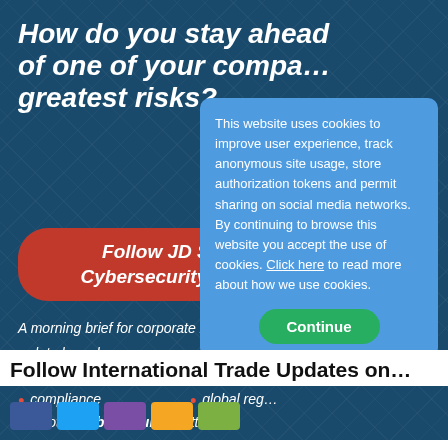How do you stay ahead of one of your company's greatest risks?
Follow JD Supra's Cybersecurity channel
A morning brief for corporate r...
data breaches
security
privacy
risk management
compliance
global regulation
all other cybersecurity matters
This website uses cookies to improve user experience, track anonymous site usage, store authorization tokens and permit sharing on social media networks. By continuing to browse this website you accept the use of cookies. Click here to read more about how we use cookies.
Continue
Follow International Trade Updates on...